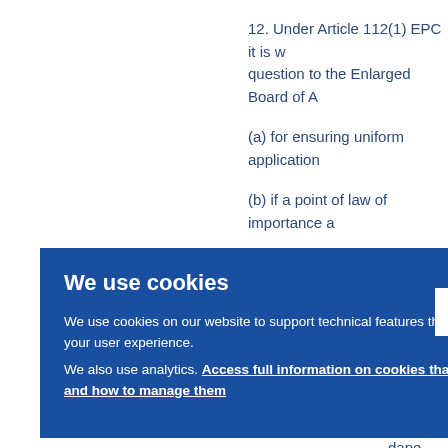12. Under Article 112(1) EPC it is w... question to the Enlarged Board of A...
(a) for ensuring uniform application...
(b) if a point of law of importance a...
It is to be noted that only questions... referred to the Enlarged Board of A...
We use cookies
We use cookies on our website to support technical features that enhance your user experience. We also use analytics. Access full information on cookies that we use and how to manage them
OK